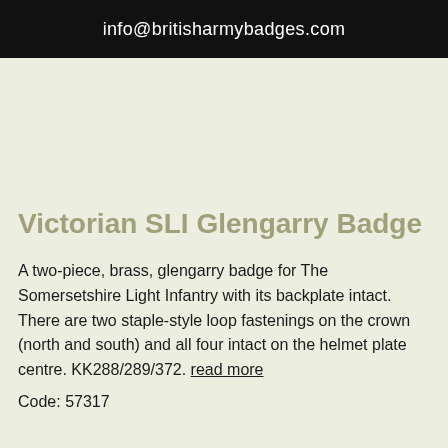info@britisharmybadges.com
Victorian SLI Glengarry Badge
A two-piece, brass, glengarry badge for The Somersetshire Light Infantry with its backplate intact. There are two staple-style loop fastenings on the crown (north and south) and all four intact on the helmet plate centre. KK288/289/372. read more
Code: 57317